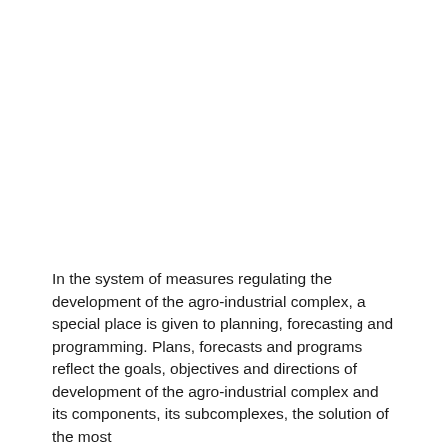In the system of measures regulating the development of the agro-industrial complex, a special place is given to planning, forecasting and programming. Plans, forecasts and programs reflect the goals, objectives and directions of development of the agro-industrial complex and its components, its subcomplexes, the solution of the most